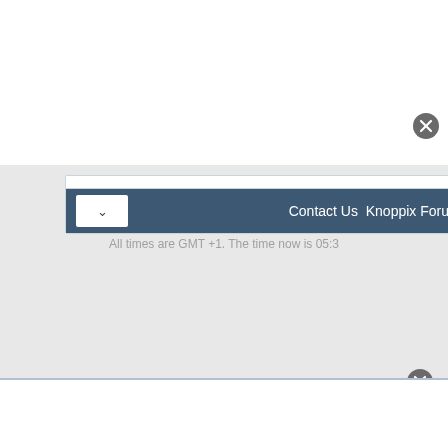[Figure (screenshot): Top white panel area of a webpage screenshot, partially cut off]
[Figure (screenshot): Close (X) button circle icon in dark gray, top right of top panel]
[Figure (screenshot): Navigation bar with dark blue-gray background showing dropdown button and nav links: Contact Us, Knoppix Foru...]
All times are GMT +1. The time now is 05:3
[Figure (screenshot): Close (X) button circle icon in dark gray, near bottom right]
[Figure (screenshot): Bottom white panel area of a webpage screenshot, partially cut off]